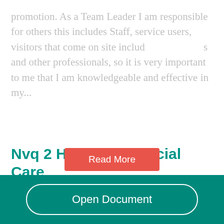promotion. As a Team Leader I am responsible for others this includes Staff, service users, visitors that come on site includ[...] s and other professionals, so it is very important to me that I am knowledgeable and effective in my...
[Figure (other): Red 'Read More' button overlay on faded text]
Nvq 2 Health and Social Care
553 Words  | 3 Pages
UNIT 202 Introduction to personal development in...
Open Document